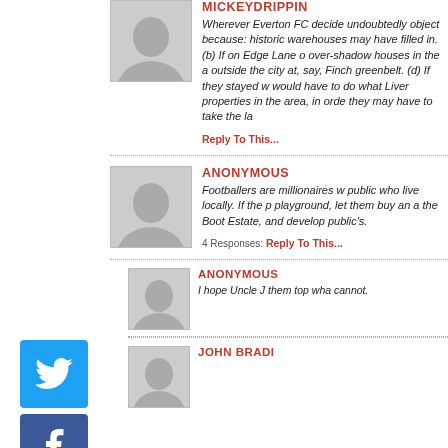MICKEYDRIPPIN
Wherever Everton FC decide undoubtedly object because: historic warehouses may have filled in. (b) If on Edge Lane o over-shadow houses in the a outside the city at, say, Finch greenbelt. (d) If they stayed w would have to do what Liver properties in the area, in orde they may have to take the la
Reply To This...
ANONYMOUS
Footballers are millionaires w public who live locally. If the p playground, let them buy an a the Boot Estate, and develop public's.
4 Responses: Reply To This...
ANONYMOUS
I hope Uncle J them top wha cannot.
JOHN BRADI